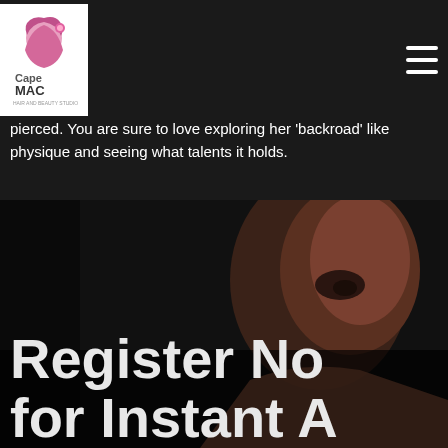CapeMAC logo and hamburger menu
pierced. You are sure to love exploring her 'backroad' like physique and seeing what talents it holds.
[Figure (photo): Dark moody close-up portrait photo of a woman with overlay text 'Register Now for Instant A']
Register No for Instant A